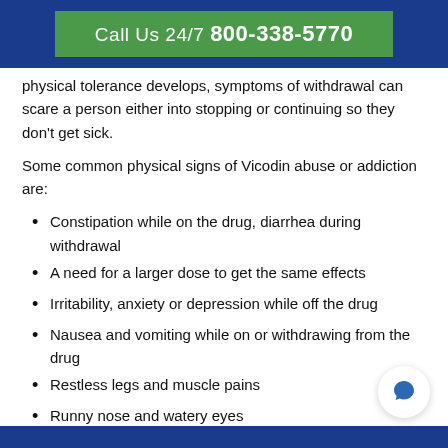Call Us 24/7 800-338-5770
physical tolerance develops, symptoms of withdrawal can scare a person either into stopping or continuing so they don't get sick.
Some common physical signs of Vicodin abuse or addiction are:
Constipation while on the drug, diarrhea during withdrawal
A need for a larger dose to get the same effects
Irritability, anxiety or depression while off the drug
Nausea and vomiting while on or withdrawing from the drug
Restless legs and muscle pains
Runny nose and watery eyes